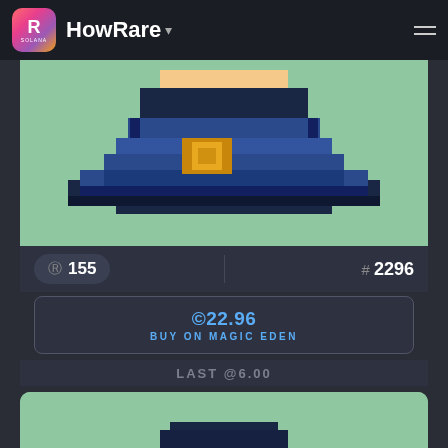HowRare
[Figure (screenshot): Pixel art NFT - wizard/character with dark blue hat and gold buckle on mint green background]
R 155
# 2296
©22.96 BUY ON MAGIC EDEN
LAST @6.00
[Figure (screenshot): Second pixel art NFT card preview on mint green background - partial view showing top of dark hat]